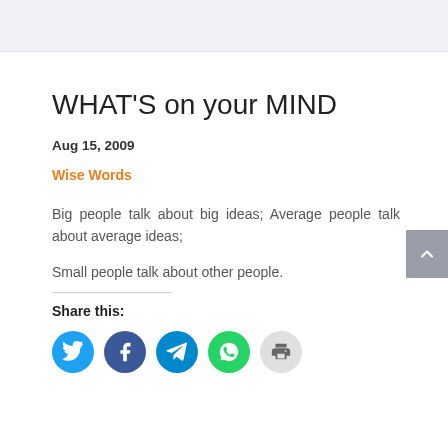WHAT'S on your MIND
Aug 15, 2009
Wise Words
Big people talk about big ideas; Average people talk about average ideas;
Small people talk about other people.
Share this:
[Figure (other): Social share icons: Twitter (blue), Facebook (dark blue), Telegram (blue), WhatsApp (green), Print (light grey)]